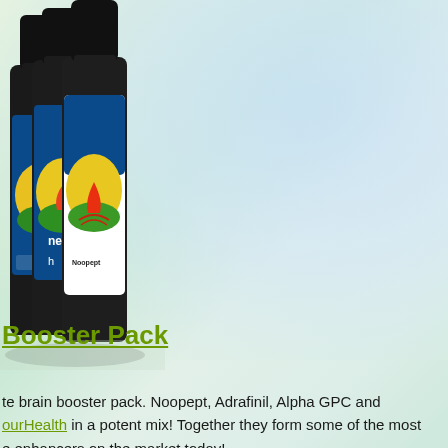[Figure (photo): Three dark glass supplement bottles with green/gold labels featuring a flame and sun design, arranged in a cascading left-to-right pattern against a light background]
Booster Pack
te brain booster pack. Noopept, Adrafinil, Alpha GPC and ourHealth in a potent mix! Together they form some of the most e enhancers on the market today!